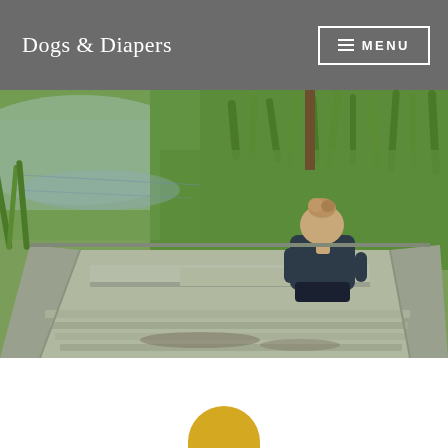Dogs & Diapers | MENU
[Figure (photo): A young child with light brown hair sits on the bench seat of an old aluminum flat-bottomed boat, viewed from behind. The child wears a dark navy t-shirt and black shorts. The boat is moored beside a lush green grassy bank next to a calm reflective pond or river. The interior of the boat shows weathered gray metal and dirt on the floor.]
[Figure (other): Partial view of a yellow/gold circle element at the bottom center of the page, appearing to be an avatar or decorative element partially cropped at the page bottom.]